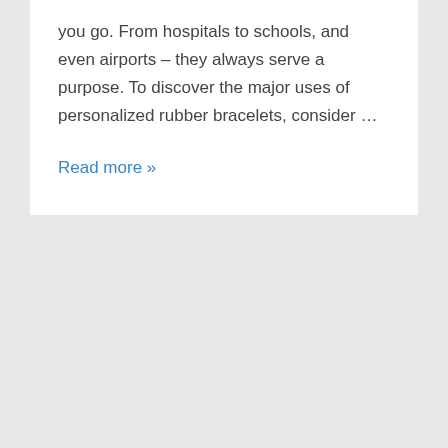you go. From hospitals to schools, and even airports – they always serve a purpose. To discover the major uses of personalized rubber bracelets, consider …
Read more »